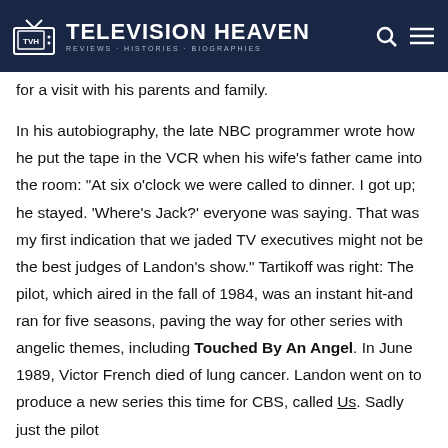Television Heaven — Reviews, Histories, Biographies
for a visit with his parents and family.
In his autobiography, the late NBC programmer wrote how he put the tape in the VCR when his wife's father came into the room: "At six o'clock we were called to dinner. I got up; he stayed. 'Where's Jack?' everyone was saying. That was my first indication that we jaded TV executives might not be the best judges of Landon's show." Tartikoff was right: The pilot, which aired in the fall of 1984, was an instant hit-and ran for five seasons, paving the way for other series with angelic themes, including Touched By An Angel. In June 1989, Victor French died of lung cancer. Landon went on to produce a new series this time for CBS, called Us. Sadly just the pilot